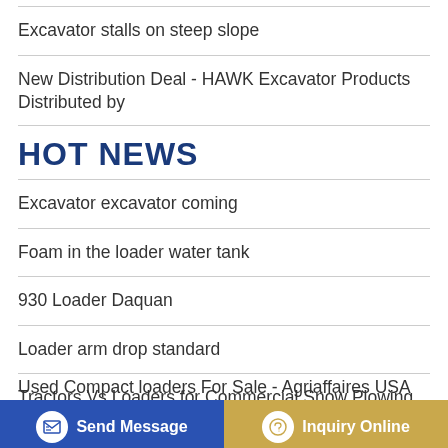Excavator stalls on steep slope
New Distribution Deal - HAWK Excavator Products Distributed by
HOT NEWS
Excavator excavator coming
Foam in the loader water tank
930 Loader Daquan
Loader arm drop standard
Tractors Vs Loaders for Commercial Snow Plowing
Used Compact loaders For Sale - Agriaffaires USA
Send Message
Inquiry Online